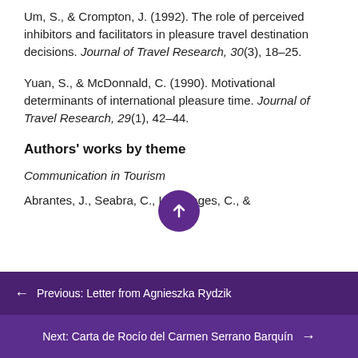Um, S., & Crompton, J. (1992). The role of perceived inhibitors and facilitators in pleasure travel destination decisions. Journal of Travel Research, 30(3), 18–25.
Yuan, S., & McDonnald, C. (1990). Motivational determinants of international pleasure time. Journal of Travel Research, 29(1), 42–44.
Authors' works by theme
Communication in Tourism
Abrantes, J., Seabra, C., Lages, C., &
← Previous: Letter from Agnieszka Rydzik
Next: Carta de Rocío del Carmen Serrano Barquín →